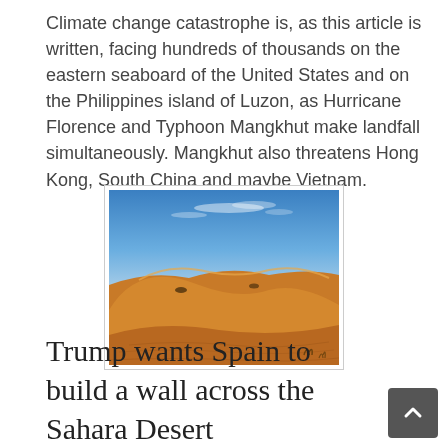Climate change catastrophe is, as this article is written, facing hundreds of thousands on the eastern seaboard of the United States and on the Philippines island of Luzon, as Hurricane Florence and Typhoon Mangkhut make landfall simultaneously. Mangkhut also threatens Hong Kong, South China and maybe Vietnam.
[Figure (photo): Photo of orange sand dunes under a clear blue sky with wispy clouds, typical desert landscape (Sahara).]
Trump wants Spain to build a wall across the Sahara Desert